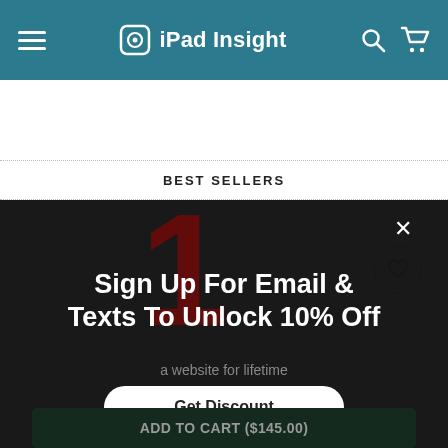iPad Insight
BEST SELLERS
[Figure (screenshot): Product card with light gray background and a wishlist heart icon button on the right]
[Figure (screenshot): Modal overlay on dark background showing a large red numeral 1, a close X button, the headline 'Sign Up For Email & Texts To Unlock 10% Off', subtext 'a website for lifetime', a white 'Get Discount' pill button, and a dark 'ADD TO CART ($145.00)' button at the bottom]